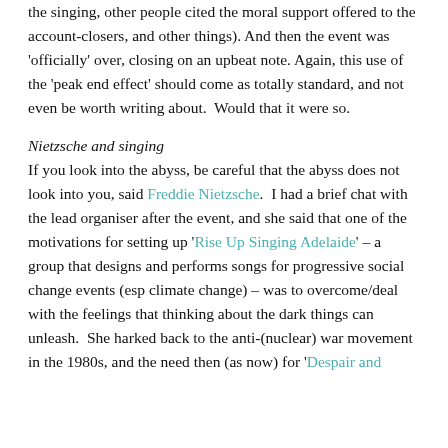the singing, other people cited the moral support offered to the account-closers, and other things). And then the event was 'officially' over, closing on an upbeat note. Again, this use of the 'peak end effect' should come as totally standard, and not even be worth writing about.  Would that it were so.
Nietzsche and singing
If you look into the abyss, be careful that the abyss does not look into you, said Freddie Nietzsche.  I had a brief chat with the lead organiser after the event, and she said that one of the motivations for setting up 'Rise Up Singing Adelaide' – a group that designs and performs songs for progressive social change events (esp climate change) – was to overcome/deal with the feelings that thinking about the dark things can unleash.  She harked back to the anti-(nuclear) war movement in the 1980s, and the need then (as now) for 'Despair and